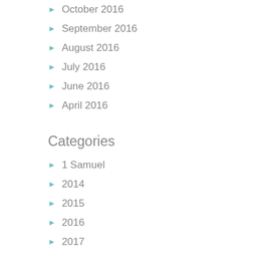October 2016
September 2016
August 2016
July 2016
June 2016
April 2016
Categories
1 Samuel
2014
2015
2016
2017